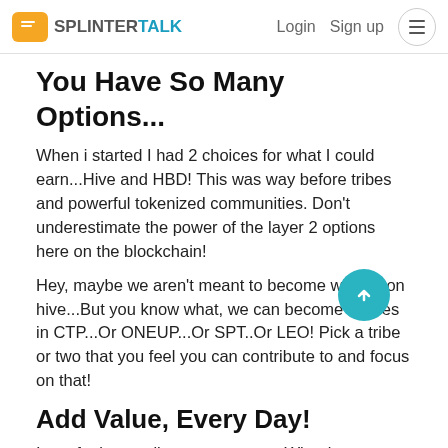SPLINTERTALK | Login  Sign up
You Have So Many Options...
When i started I had 2 choices for what I could earn...Hive and HBD! This was way before tribes and powerful tokenized communities. Don't underestimate the power of the layer 2 options here on the blockchain!
Hey, maybe we aren't meant to become whales on hive...But you know what, we can become whales in CTP...Or ONEUP...Or SPT..Or LEO! Pick a tribe or two that you feel you can contribute to and focus on that!
Add Value, Every Day!
I can feel you roll your eyes now...What is